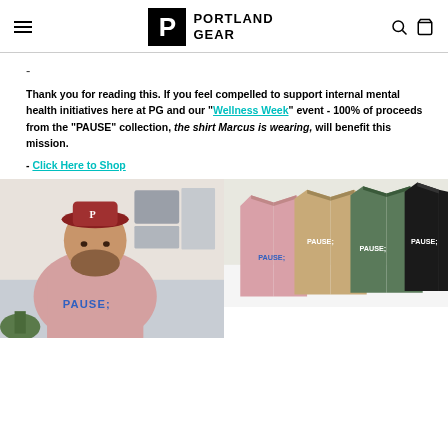Portland Gear (logo/navigation header)
-
Thank you for reading this. If you feel compelled to support internal mental health initiatives here at PG and our "Wellness Week" event - 100% of proceeds from the "PAUSE" collection, the shirt Marcus is wearing, will benefit this mission.
- Click Here to Shop
[Figure (photo): Left: Man wearing pink PAUSE t-shirt with blue text, sitting in room. Right: Four PAUSE t-shirts in pink, tan, green, black colors displayed on white surface.]